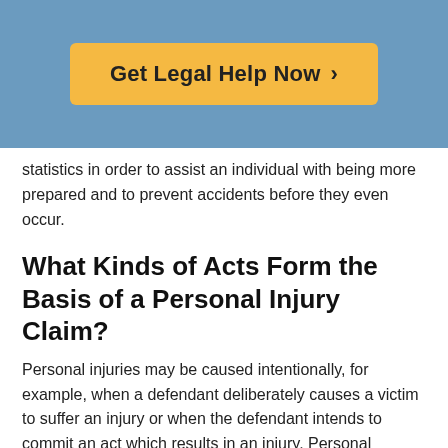[Figure (other): Blue header banner with orange/yellow button labeled 'Get Legal Help Now >']
statistics in order to assist an individual with being more prepared and to prevent accidents before they even occur.
What Kinds of Acts Form the Basis of a Personal Injury Claim?
Personal injuries may be caused intentionally, for example, when a defendant deliberately causes a victim to suffer an injury or when the defendant intends to commit an act which results in an injury. Personal injuries may also occur unintentionally.
If an unintentional injury is the result of another individual's negligence, then the plaintiff may be able to file a lawsuit based on that negligent behavior